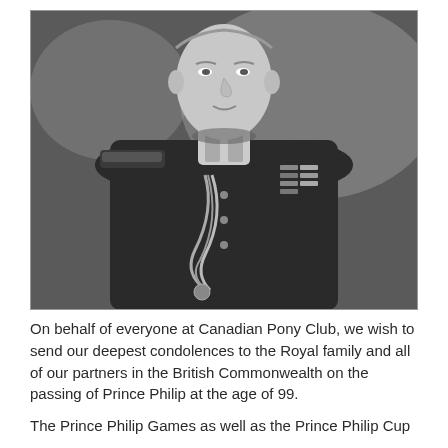[Figure (photo): Black and white formal portrait photograph of Prince Philip in military dress uniform with epaulettes, medals, and ceremonial rope/aiguillette, against a mottled dark background.]
On behalf of everyone at Canadian Pony Club, we wish to send our deepest condolences to the Royal family and all of our partners in the British Commonwealth on the passing of Prince Philip at the age of 99.
The Prince Philip Games as well as the Prince Philip Cup